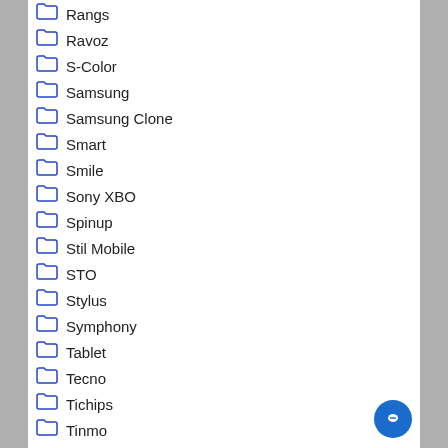Rangs
Ravoz
S-Color
Samsung
Samsung Clone
Smart
Smile
Sony XBO
Spinup
Stil Mobile
STO
Stylus
Symphony
Tablet
Tecno
Tichips
Tinmo